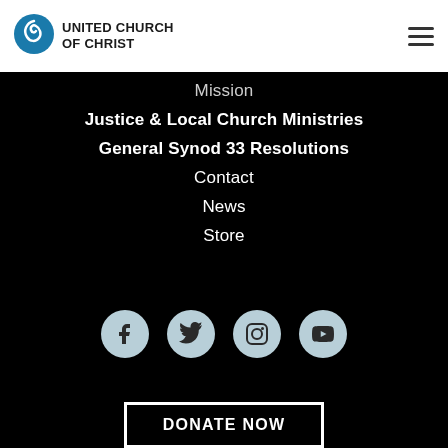[Figure (logo): United Church of Christ logo with spiral graphic and text UNITED CHURCH OF CHRIST]
[Figure (other): Hamburger menu icon (three horizontal lines)]
Mission
Justice & Local Church Ministries
General Synod 33 Resolutions
Contact
News
Store
[Figure (other): Social media icons: Facebook, Twitter, Instagram, YouTube — light blue circles on black background]
DONATE NOW